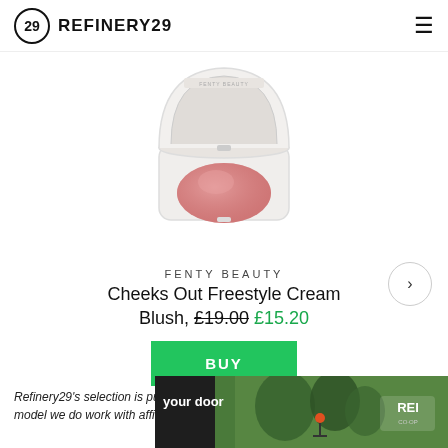REFINERY29
[Figure (photo): Fenty Beauty Cheeks Out Freestyle Cream Blush compact — round pink blush in white rectangular compact with mirror lid open]
FENTY BEAUTY
Cheeks Out Freestyle Cream Blush, £19.00 £15.20
BUY
Refinery29's selection is purely editorial and independently chosen; business model we do work with affiliates. If you directly